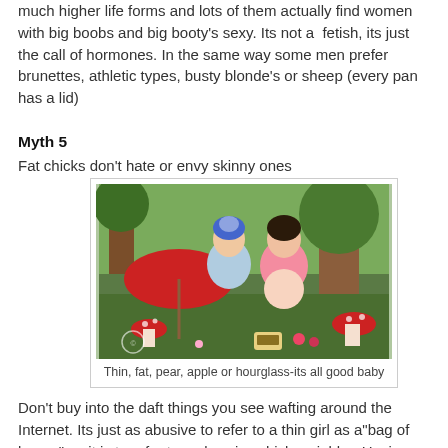much higher life forms and lots of them actually find women with big boobs and big booty's sexy. Its not a fetish, its just the call of hormones. In the same way some men prefer brunettes, athletic types, busty blonde's or sheep (every pan has a lid)
Myth 5
Fat chicks don't hate or envy skinny ones
[Figure (photo): Two plus-size women in vintage/pin-up style dresses posing in a colorful fantasy forest setting with mushrooms and a red umbrella]
Thin, fat, pear, apple or hourglass-its all good baby
Don't buy into the daft things you see wafting around the Internet. Its just as abusive to refer to a thin girl as a"bag of bones" as it is to refer to a plus size chick as jabba. Having